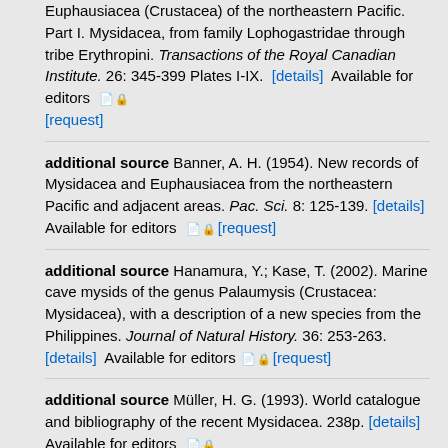Euphausiacea (Crustacea) of the northeastern Pacific. Part I. Mysidacea, from family Lophogastridae through tribe Erythropini. Transactions of the Royal Canadian Institute. 26: 345-399 Plates I-IX. [details] Available for editors [request]
additional source Banner, A. H. (1954). New records of Mysidacea and Euphausiacea from the northeastern Pacific and adjacent areas. Pac. Sci. 8: 125-139. [details] Available for editors [request]
additional source Hanamura, Y.; Kase, T. (2002). Marine cave mysids of the genus Palaumysis (Crustacea: Mysidacea), with a description of a new species from the Philippines. Journal of Natural History. 36: 253-263. [details] Available for editors [request]
additional source Müller, H. G. (1993). World catalogue and bibliography of the recent Mysidacea. 238p. [details] Available for editors [request]